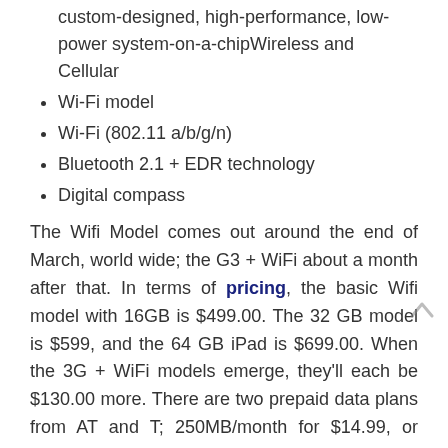custom-designed, high-performance, low-power system-on-a-chipWireless and Cellular
Wi-Fi model
Wi-Fi (802.11 a/b/g/n)
Bluetooth 2.1 + EDR technology
Digital compass
The Wifi Model comes out around the end of March, world wide; the G3 + WiFi about a month after that. In terms of pricing, the basic Wifi model with 16GB is $499.00. The 32 GB model is $599, and the 64 GB iPad is $699.00. When the 3G + WiFi models emerge, they'll each be $130.00 more. There are two prepaid data plans from AT and T; 250MB/month for $14.99, or unlimited for $29.99.
Apple's own accessories include a dockable keyboard, and a case.
As for me, I'd line up right now to buy one. I note